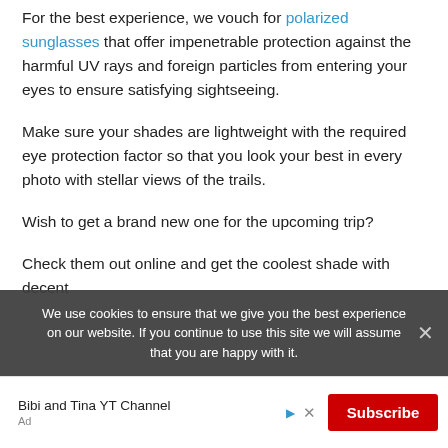For the best experience, we vouch for polarized sunglasses that offer impenetrable protection against the harmful UV rays and foreign particles from entering your eyes to ensure satisfying sightseeing.
Make sure your shades are lightweight with the required eye protection factor so that you look your best in every photo with stellar views of the trails.
Wish to get a brand new one for the upcoming trip?
Check them out online and get the coolest shade with decent
We use cookies to ensure that we give you the best experience on our website. If you continue to use this site we will assume that you are happy with it.
Bibi and Tina YT Channel
Ad
Subscribe